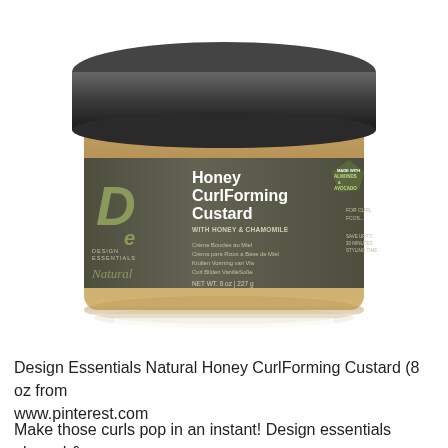[Figure (photo): Product photo of Design Essentials Natural Honey CurlForming Custard jar (8 oz / 227g) with dark lid, honey-colored glass body, and dark olive-colored label. Label shows DE logo, 'Honey CurlForming Custard WITH HONEY & CHAMOMILE' text, multilingual descriptions, net weight, and an almond & avocado badge.]
Design Essentials Natural Honey CurlForming Custard (8 oz from www.pinterest.com
Make those curls pop in an instant! Design essentials almond &